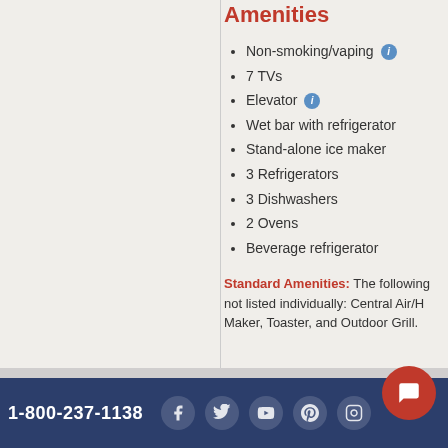Amenities
Non-smoking/vaping
7 TVs
Elevator
Wet bar with refrigerator
Stand-alone ice maker
3 Refrigerators
3 Dishwashers
2 Ovens
Beverage refrigerator
Standard Amenities: The following not listed individually: Central Air/H Maker, Toaster, and Outdoor Grill.
1-800-237-1138